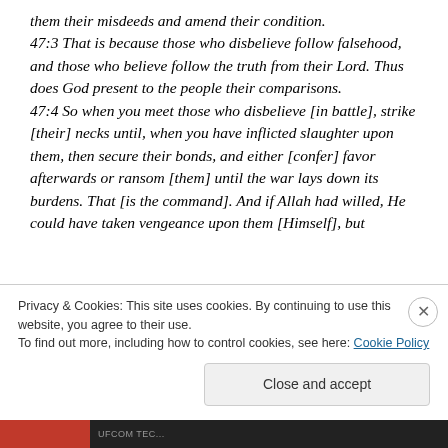them their misdeeds and amend their condition. 47:3 That is because those who disbelieve follow falsehood, and those who believe follow the truth from their Lord. Thus does God present to the people their comparisons. 47:4 So when you meet those who disbelieve [in battle], strike [their] necks until, when you have inflicted slaughter upon them, then secure their bonds, and either [confer] favor afterwards or ransom [them] until the war lays down its burdens. That [is the command]. And if Allah had willed, He could have taken vengeance upon them [Himself], but
Privacy & Cookies: This site uses cookies. By continuing to use this website, you agree to their use. To find out more, including how to control cookies, see here: Cookie Policy
Close and accept